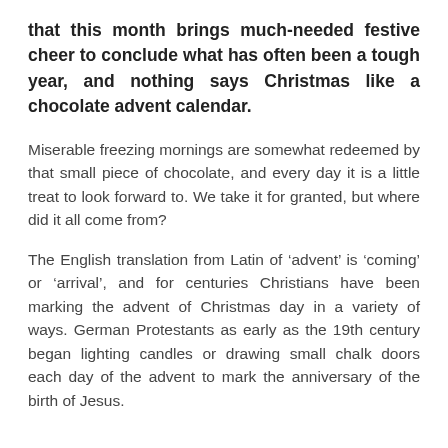that this month brings much-needed festive cheer to conclude what has often been a tough year, and nothing says Christmas like a chocolate advent calendar.
Miserable freezing mornings are somewhat redeemed by that small piece of chocolate, and every day it is a little treat to look forward to. We take it for granted, but where did it all come from?
The English translation from Latin of 'advent' is 'coming' or 'arrival', and for centuries Christians have been marking the advent of Christmas day in a variety of ways. German Protestants as early as the 19th century began lighting candles or drawing small chalk doors each day of the advent to mark the anniversary of the birth of Jesus.